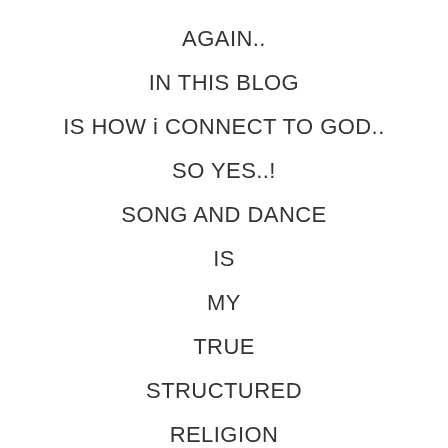AGAIN..
IN THIS BLOG
IS HOW i CONNECT TO GOD..
SO YES..!
SONG AND DANCE
IS
MY
TRUE
STRUCTURED
RELIGION